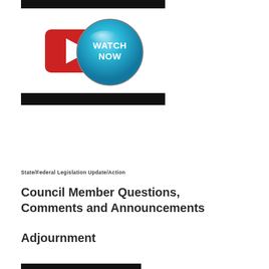[Figure (other): Black bar at top of page]
[Figure (other): Watch Now button with red play icon and blue circular badge reading WATCH NOW]
[Figure (other): Black bar below watch now button]
State/Federal Legislation Update/Action
Council Member Questions, Comments and Announcements
Adjournment
[Figure (other): Black bar at bottom of page]